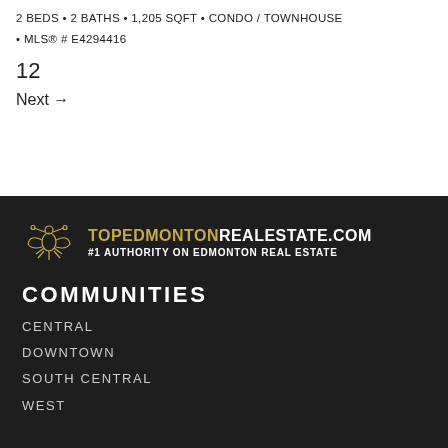2 BEDS • 2 BATHS • 1,205 SQFT • CONDO / TOWNHOUSE • MLS® # E4294416
12
Next →
[Figure (logo): Top Edmonton Real Estate logo with ornamental icon and text TOPEDMONTONREALESTATE.COM #1 AUTHORITY ON EDMONTON REAL ESTATE]
COMMUNITIES
CENTRAL
DOWNTOWN
SOUTH CENTRAL
WEST